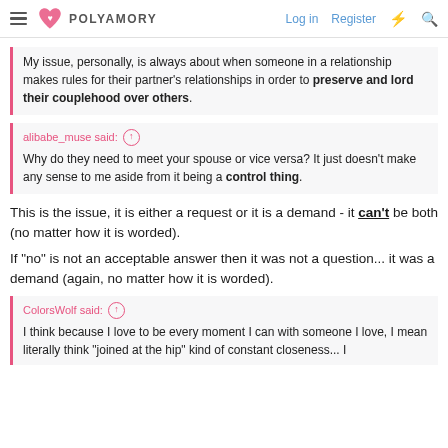POLYAMORY | Log in | Register
My issue, personally, is always about when someone in a relationship makes rules for their partner's relationships in order to preserve and lord their couplehood over others.
alibabe_muse said: Why do they need to meet your spouse or vice versa? It just doesn't make any sense to me aside from it being a control thing.
This is the issue, it is either a request or it is a demand - it can't be both (no matter how it is worded).
If "no" is not an acceptable answer then it was not a question... it was a demand (again, no matter how it is worded).
ColorsWolf said: I think because I love to be every moment I can with someone I love, I mean literally think "joined at the hip" kind of constant closeness... I